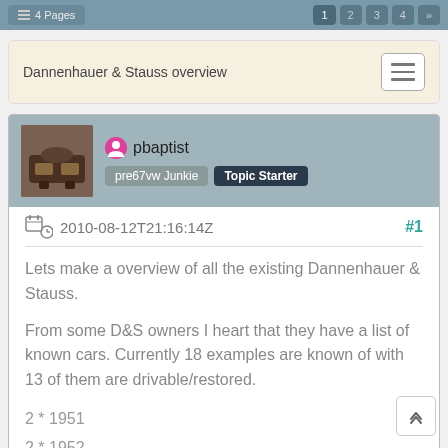4 Pages  1  2  3  4  >>
Dannenhauer & Stauss overview
pbaptist
pre67vw Junkie  Topic Starter
2010-08-12T21:16:14Z  #1
Lets make a overview of all the existing Dannenhauer & Stauss.

From some D&S owners I heart that they have a list of known cars. Currently 18 examples are known of with 13 of them are drivable/restored.
2 * 1951
2 * 1952